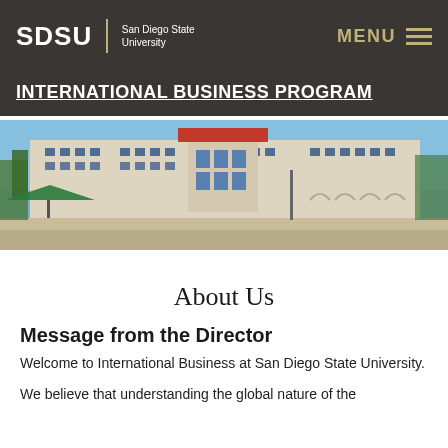SDSU | San Diego State University   MENU
INTERNATIONAL BUSINESS PROGRAM
[Figure (photo): Exterior photo of a large university building on the SDSU campus with blue sky, trees, and a green umbrella in the foreground]
About Us
Message from the Director
Welcome to International Business at San Diego State University.
We believe that understanding the global nature of the